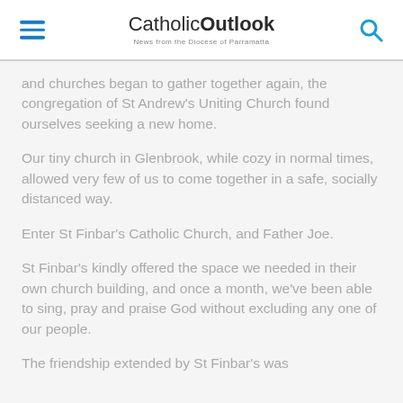CatholicOutlook — News from the Diocese of Parramatta
and churches began to gather together again, the congregation of St Andrew's Uniting Church found ourselves seeking a new home.
Our tiny church in Glenbrook, while cozy in normal times, allowed very few of us to come together in a safe, socially distanced way.
Enter St Finbar's Catholic Church, and Father Joe.
St Finbar's kindly offered the space we needed in their own church building, and once a month, we've been able to sing, pray and praise God without excluding any one of our people.
The friendship extended by St Finbar's was